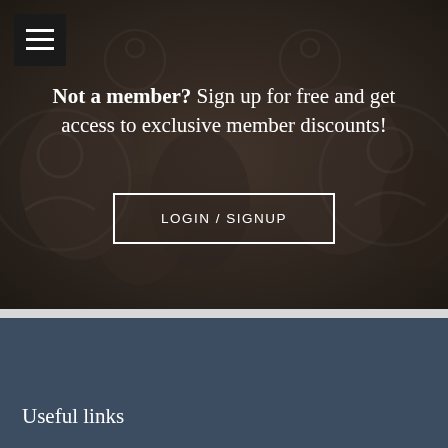[Figure (screenshot): Hero section with dark background showing hands joined together, with overlaid semi-transparent circular community icons]
Not a member? Sign up for free and get access to exclusive member discounts!
LOGIN / SIGNUP
Useful links